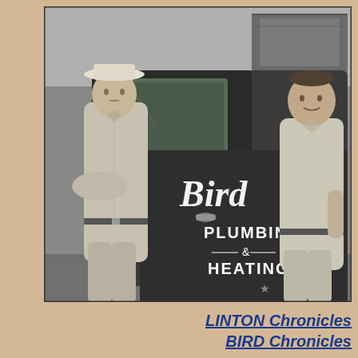[Figure (photo): Black and white photograph of two men standing beside a dark truck with 'Bird Plumbing & Heating' written on the door. The man on the left wears a cowboy hat and has his arms crossed. The man on the right stands relaxed. The truck door shows the word 'Bird' in cursive script above 'PLUMBING & HEATING' in block letters.]
LINTON Chronicles
BIRD Chronicles